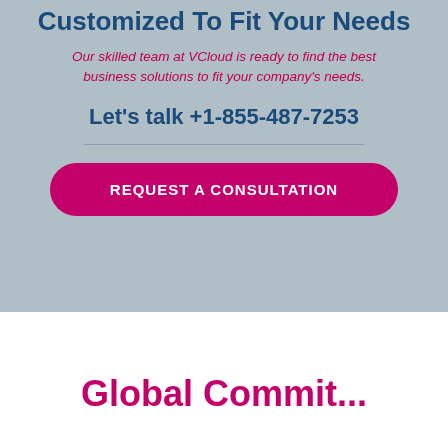Customized To Fit Your Needs
Our skilled team at VCloud is ready to find the best business solutions to fit your company's needs.
Let's talk +1-855-487-7253
REQUEST A CONSULTATION
Global Commit...